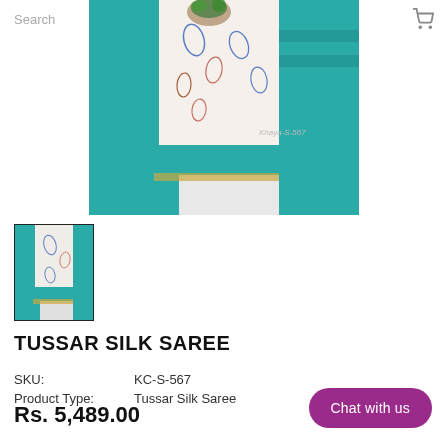Search
[Figure (photo): A teal/turquoise Tussar Silk Saree with white paisley printed fabric draped over it, with gold border at hem. A plant in a basket is visible in background. Watermark text: Khaya-S-567]
[Figure (photo): Thumbnail image of the same Tussar Silk Saree showing teal fabric with white printed section]
TUSSAR SILK SAREE
| SKU: | KC-S-567 |
| Product Type: | Tussar Silk Saree |
Rs. 5,489.00
Chat with us